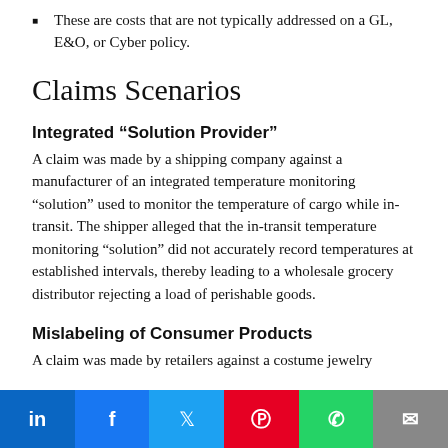These are costs that are not typically addressed on a GL, E&O, or Cyber policy.
Claims Scenarios
Integrated “Solution Provider”
A claim was made by a shipping company against a manufacturer of an integrated temperature monitoring “solution” used to monitor the temperature of cargo while in-transit. The shipper alleged that the in-transit temperature monitoring “solution” did not accurately record temperatures at established intervals, thereby leading to a wholesale grocery distributor rejecting a load of perishable goods.
Mislabeling of Consumer Products
A claim was made by retailers against a costume jewelry